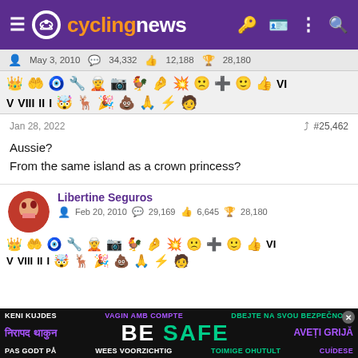cyclingnews
May 3, 2010   34,332   12,188   28,180
[Figure (infographic): Two rows of forum badge/achievement icons]
Jan 28, 2022   #25,462
Aussie?
From the same island as a crown princess?
Libertine Seguros
Feb 20, 2010   29,169   6,645   28,180
[Figure (infographic): Two rows of forum badge/achievement icons for Libertine Seguros]
[Figure (infographic): Safety banner: BE SAFE multilingual advertisement]